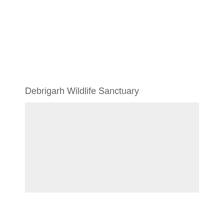Debrigarh Wildlife Sanctuary
[Figure (other): A light gray rectangular placeholder image area with no visible content.]